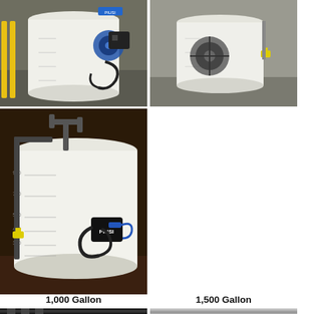[Figure (photo): White cylindrical DEF/fluid storage tank with blue hose reel and pump mounted on the side, indoors with yellow safety posts visible]
[Figure (photo): White cylindrical DEF/fluid storage tank with hose reel mounted on the side, similar to left photo]
[Figure (photo): Large white vertical poly storage tank (1000 gallon) with PVC piping on top and PIUSI pump/hose assembly mounted, showing gallon markings on the side, outdoors on pavement]
1,000 Gallon
1,500 Gallon
[Figure (photo): Partial view of industrial storage or shelving equipment, dark background]
[Figure (photo): Partial view of metallic industrial tank or container surface]